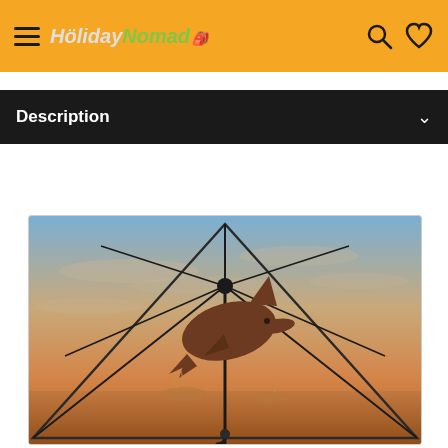HolidayNomad
Description
[Figure (photo): Umbrella with a dolphin jumping over ocean water at sunset printed on the canopy, viewed from below showing the ribs and handle]